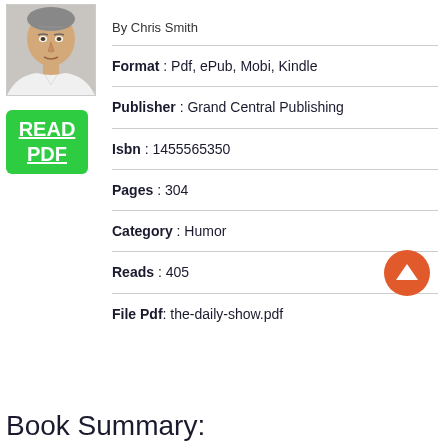[Figure (photo): Portrait photo of a man (author photo)]
[Figure (other): Green READ PDF button]
By Chris Smith
Format : Pdf, ePub, Mobi, Kindle
Publisher : Grand Central Publishing
Isbn : 1455565350
Pages : 304
Category : Humor
Reads : 405
File Pdf: the-daily-show.pdf
Book Summary: